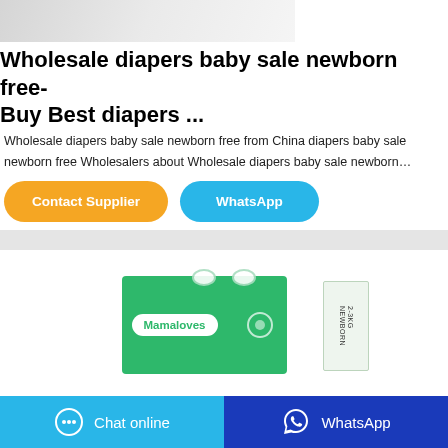[Figure (photo): Product photo showing white diapers/pillow and a product box on a light background]
Wholesale diapers baby sale newborn free- Buy Best diapers ...
Wholesale diapers baby sale newborn free from China diapers baby sale newborn free Wholesalers about Wholesale diapers baby sale newborn…
[Figure (other): Contact Supplier button (orange rounded) and WhatsApp button (blue rounded)]
[Figure (photo): Green Mamaloves diaper box product image]
[Figure (other): Chat online button (light blue) and WhatsApp button (dark blue) at bottom]